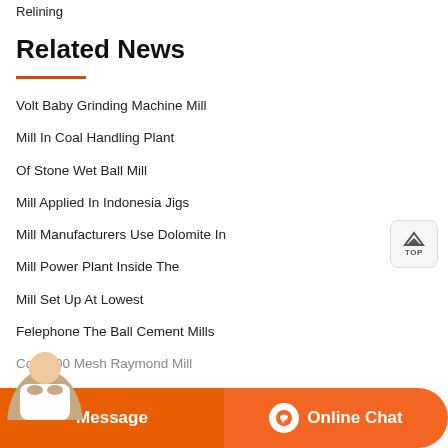Relining
Related News
Volt Baby Grinding Machine Mill
Mill In Coal Handling Plant
Of Stone Wet Ball Mill
Mill Applied In Indonesia Jigs
Mill Manufacturers Use Dolomite In
Mill Power Plant Inside The
Mill Set Up At Lowest
Felephone The Ball Cement Mills
Coal 100 Mesh Raymond Mill
Message   Online Chat